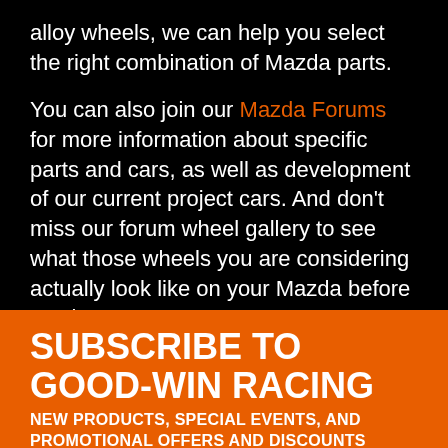alloy wheels, we can help you select the right combination of Mazda parts.
You can also join our Mazda Forums for more information about specific parts and cars, as well as development of our current project cars. And don't miss our forum wheel gallery to see what those wheels you are considering actually look like on your Mazda before you buy.
SUBSCRIBE TO GOOD-WIN RACING
NEW PRODUCTS, SPECIAL EVENTS, AND PROMOTIONAL OFFERS AND DISCOUNTS
FIRST NAME